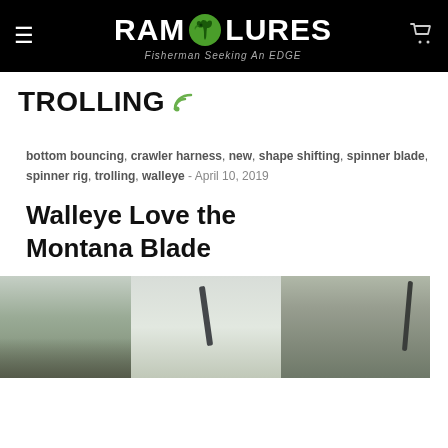RAM LURES — Fisherman Seeking An EDGE
TROLLING
bottom bouncing, crawler harness, new, shape shifting, spinner blade, spinner rig, trolling, walleye - April 10, 2019
Walleye Love the Montana Blade
[Figure (photo): Outdoor photo showing fishing rods mounted on a boat, blurred background of water and dock equipment]